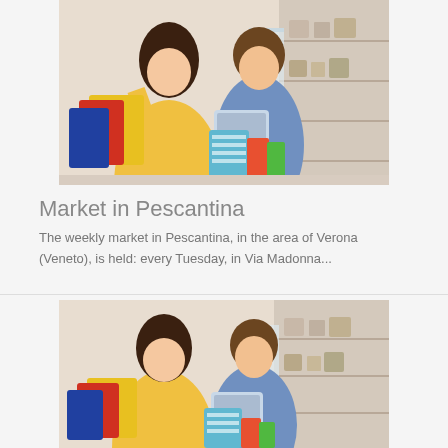[Figure (photo): A couple shopping — woman in yellow dress holding colorful bags, man in blue shirt holding a tablet, inside a retail store]
Market in Pescantina
The weekly market in Pescantina, in the area of Verona (Veneto), is held: every Tuesday, in Via Madonna...
[Figure (photo): Same couple shopping scene — woman in yellow dress with colorful bags, man in blue shirt looking at tablet, retail store background, partial/cropped view]